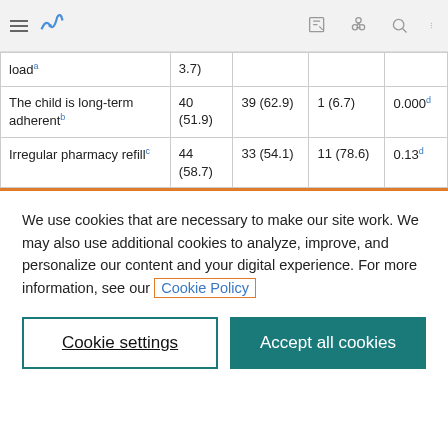| loadâ | 3.7) |  |  |  |
| The child is long-term adherentᵇ | 40 (51.9) | 39 (62.9) | 1 (6.7) | 0.000ᵈ |
| Irregular pharmacy refillᶜ | 44 (58.7) | 33 (54.1) | 11 (78.6) | 0.13ᵈ |
We use cookies that are necessary to make our site work. We may also use additional cookies to analyze, improve, and personalize our content and your digital experience. For more information, see our Cookie Policy